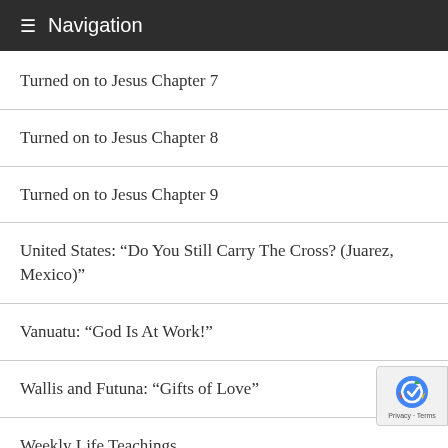Navigation
Turned on to Jesus Chapter 7
Turned on to Jesus Chapter 8
Turned on to Jesus Chapter 9
United States: “Do You Still Carry The Cross? (Juarez, Mexico)”
Vanuatu: “God Is At Work!”
Wallis and Futuna: “Gifts of Love”
Weekly Life Teachings
Welcome Jesus!